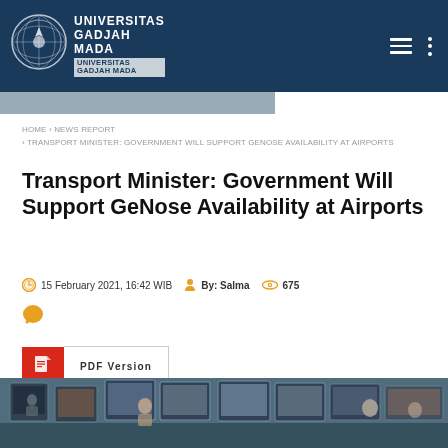UNIVERSITAS GADJAH MADA
HOME › NEWS REPORT › TRANSPORT MINISTER: GOVERNMENT WILL SUPPORT GENOSE AVAILABILITY AT AIRPORTS
Transport Minister: Government Will Support GeNose Availability at Airports
15 February 2021, 16:42 WIB   By: Salma   675
PDF Version
[Figure (photo): People working at computer workstations with monitors displaying video content in an office or media center setting]